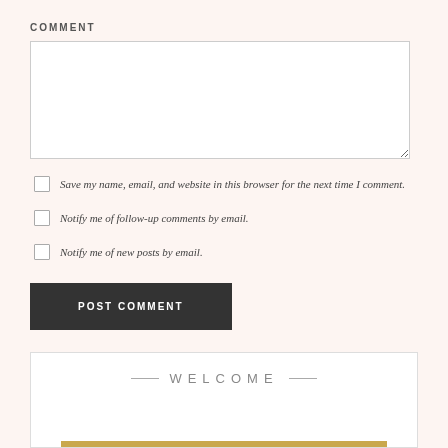COMMENT
[Comment textarea]
Save my name, email, and website in this browser for the next time I comment.
Notify me of follow-up comments by email.
Notify me of new posts by email.
POST COMMENT
WELCOME